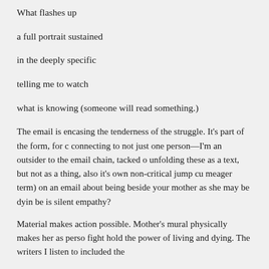What flashes up
a full portrait sustained
in the deeply specific
telling me to watch
what is knowing (someone will read something.)
The email is encasing the tenderness of the struggle. It's part of the form, for connecting to not just one person—I'm an outsider to the email chain, tacked on, unfolding these as a text, but not as a thing, also it's own non-critical jump cu meager term) on an email about being beside your mother as she may be dying, be is silent empathy?
Material makes action possible. Mother's mural physically makes her as perso fight hold the power of living and dying. The writers I listen to included the